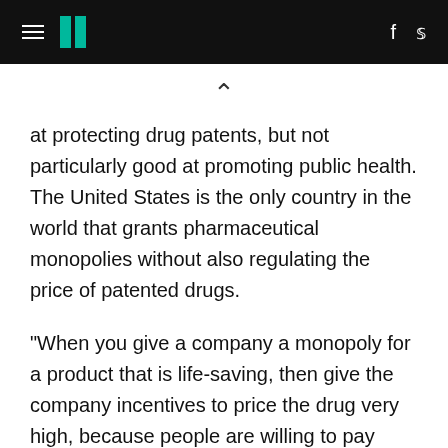HuffPost navigation header with hamburger menu, logo, Facebook and Twitter icons
at protecting drug patents, but not particularly good at promoting public health. The United States is the only country in the world that grants pharmaceutical monopolies without also regulating the price of patented drugs.
"When you give a company a monopoly for a product that is life-saving, then give the company incentives to price the drug very high, because people are willing to pay very high prices to have their lives saved, a situation arises where there are people who are willing to pay that price but